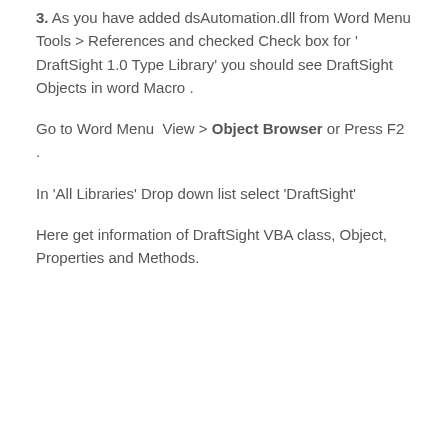3. As you have added dsAutomation.dll from Word Menu Tools > References and checked Check box for ' DraftSight 1.0 Type Library' you should see DraftSight Objects in word Macro .
Go to Word Menu View > Object Browser or Press F2 .
In 'All Libraries' Drop down list select 'DraftSight'
Here get information of DraftSight VBA class, Object, Properties and Methods.